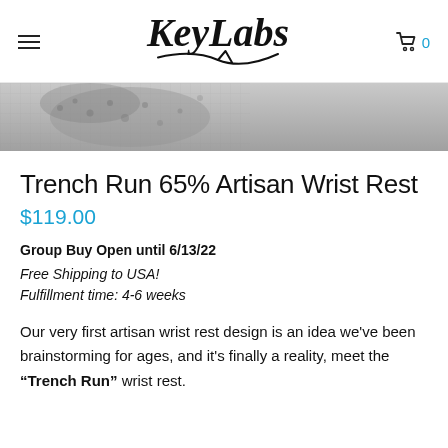KeyLabs
[Figure (photo): Close-up photo of a dark artisan wrist rest with textured surface design]
Trench Run 65% Artisan Wrist Rest
$119.00
Group Buy Open until 6/13/22
Free Shipping to USA!
Fulfillment time: 4-6 weeks
Our very first artisan wrist rest design is an idea we've been brainstorming for ages, and it's finally a reality, meet the "Trench Run" wrist rest.